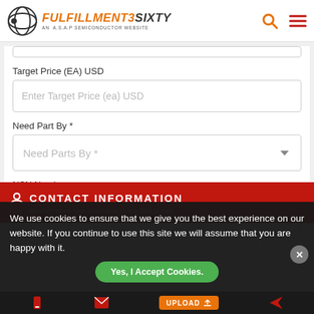[Figure (logo): Fulfillment3sixty logo - AN A.S.A.P SEMICONDUCTOR WEBSITE, with search and menu icons]
Target Price (EA) USD
Enter Target Price (ea) USD
Need Part By *
Need Parts By *
NSN Number
5310013402018
CONTACT INFORMATION
Note : We won't share your information to any third parties.
We use cookies to ensure that we give you the best experience on our website. If you continue to use this site we will assume that you are happy with it.
Yes, I Accept Cookies.